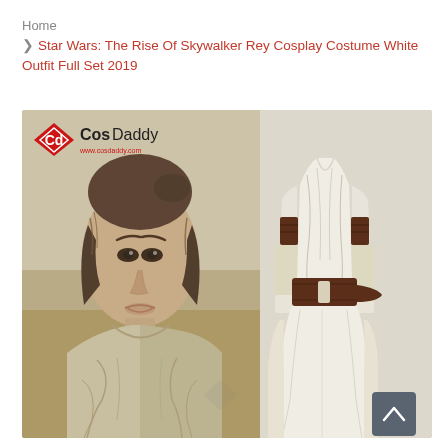Home
> Star Wars: The Rise Of Skywalker Rey Cosplay Costume White Outfit Full Set 2019
[Figure (photo): Product page screenshot showing Rey cosplay costume from Star Wars: The Rise of Skywalker. Left side shows actress Daisy Ridley as Rey in character with a beige/cream cross-draped tunic, looking serious. Right side shows the actual white costume product on a mannequin with a brown leather belt and arm wraps. CosDaddy logo is visible in the upper left corner of the image.]